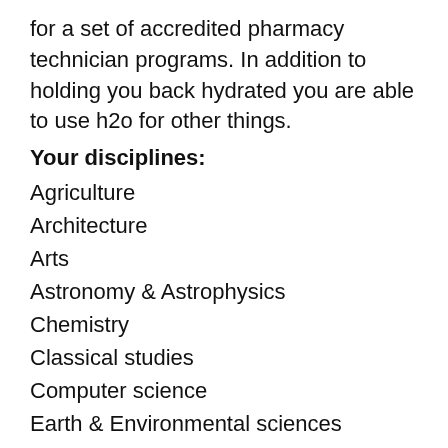for a set of accredited pharmacy technician programs. In addition to holding you back hydrated you are able to use h2o for other things.
Your disciplines:
Agriculture
Architecture
Arts
Astronomy & Astrophysics
Chemistry
Classical studies
Computer science
Earth & Environmental sciences
Economics
Education
Engineering
Geosciences
History
Law